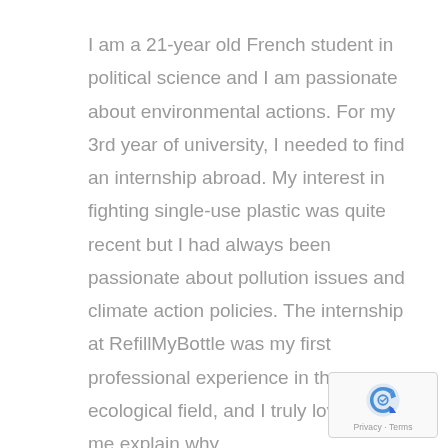I am a 21-year old French student in political science and I am passionate about environmental actions. For my 3rd year of university, I needed to find an internship abroad. My interest in fighting single-use plastic was quite recent but I had always been passionate about pollution issues and climate action policies. The internship at RefillMyBottle was my first professional experience in the ecological field, and I truly loved it. Let me explain why.